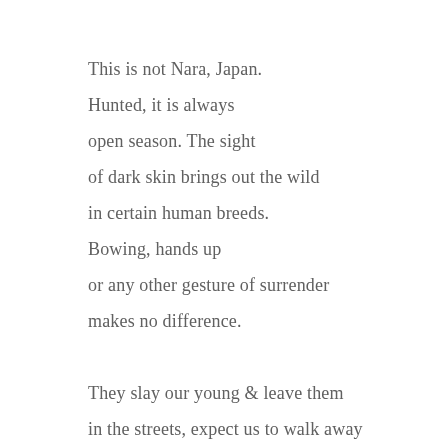This is not Nara, Japan.
Hunted, it is always
open season. The sight
of dark skin brings out the wild
in certain human breeds.
Bowing, hands up
or any other gesture of surrender
makes no difference.

They slay our young & leave them
in the streets, expect us to walk away
& wonder, after centuries
why we are not used to this—

grieving masses treated